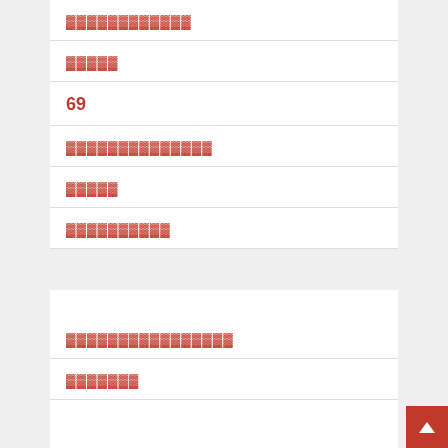▓▓▓▓▓▓▓▓▓▓▓▓
▓▓▓▓▓
69
▓▓▓▓▓▓▓▓▓▓▓▓▓▓
▓▓▓▓▓
▓▓▓▓▓▓▓▓▓▓
▓▓▓▓▓▓▓▓▓▓▓▓▓▓▓▓
▓▓▓▓▓▓▓